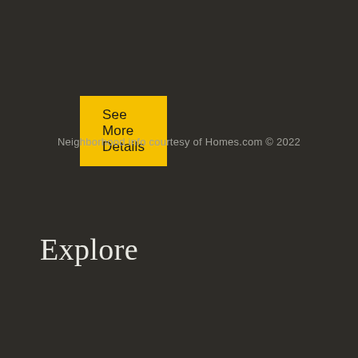See More Details
Neighborhood info courtesy of Homes.com © 2022
Explore